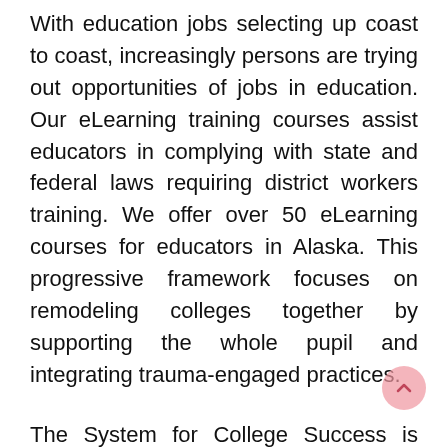With education jobs selecting up coast to coast, increasingly persons are trying out opportunities of jobs in education. Our eLearning training courses assist educators in complying with state and federal laws requiring district workers training. We offer over 50 eLearning courses for educators in Alaska. This progressive framework focuses on remodeling colleges together by supporting the whole pupil and integrating trauma-engaged practices.
The System for College Success is Alaska's new accountability system for public colleges. Career planning is a life time